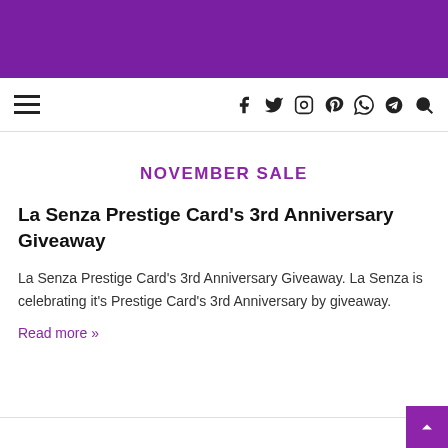[Figure (other): Purple banner header at top of page]
Navigation bar with hamburger menu and social icons: f (Facebook), Twitter, Instagram, Pinterest, WhatsApp, Telegram, Search
NOVEMBER SALE
La Senza Prestige Card's 3rd Anniversary Giveaway
La Senza Prestige Card's 3rd Anniversary Giveaway. La Senza is celebrating it's Prestige Card's 3rd Anniversary by giveaway.
Read more »